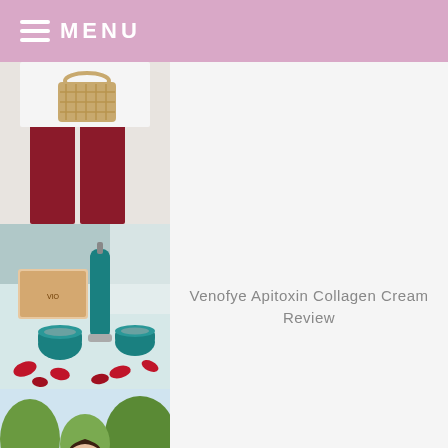MENU
[Figure (photo): Top partial blog card showing a person in maroon pants holding a wicker bag]
[Figure (photo): Blog card image: Venofye skincare products in teal/green against a white background with red rose petals]
Venofye Apitoxin Collagen Cream Review
[Figure (photo): Blog card image: Woman in blush/pink wrap dress posing outdoors on a path surrounded by green trees]
Blush Wrap Dress Strolling & On Mondays We Link-Up (#13)